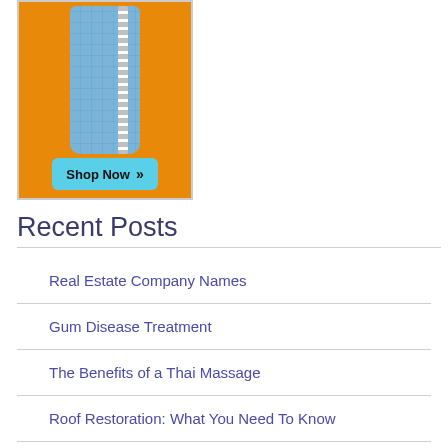[Figure (illustration): Advertisement image showing a blue crocodile-texture wallet/purse on an orange background with a cyan 'Shop Now >>' button at the bottom.]
Recent Posts
Real Estate Company Names
Gum Disease Treatment
The Benefits of a Thai Massage
Roof Restoration: What You Need To Know